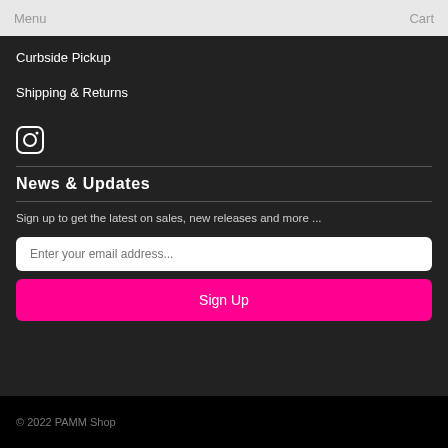Menu  Cart
Curbside Pickup
Shipping & Returns
[Figure (logo): Instagram icon (camera/photo icon in white on dark background)]
News & Updates
Sign up to get the latest on sales, new releases and more ...
Enter your email address...
Sign Up
© 2022 PAMM Shop